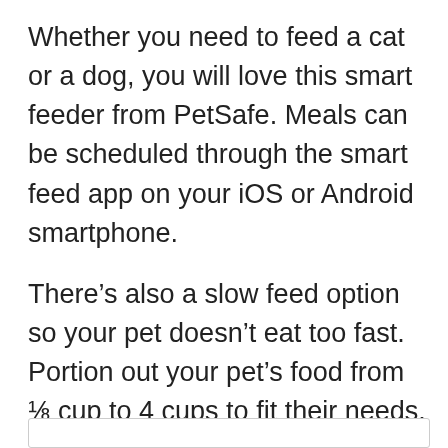Whether you need to feed a cat or a dog, you will love this smart feeder from PetSafe. Meals can be scheduled through the smart feed app on your iOS or Android smartphone.
There’s also a slow feed option so your pet doesn’t eat too fast. Portion out your pet’s food from ⅛ cup to 4 cups to fit their needs. The feeder works with dry and semi-moist food